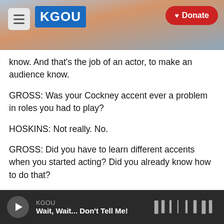[Figure (screenshot): KGOU radio website header banner with city skyline background, hamburger menu icon, KGOU logo in blue, and red Donate button]
know. And that's the job of an actor, to make an audience know.
GROSS: Was your Cockney accent ever a problem in roles you had to play?
HOSKINS: Not really. No.
GROSS: Did you have to learn different accents when you started acting? Did you already know how to do that?
HOSKINS: Yeah. Well, I suppose if a guy - I always told jokes, you know?
KGOU — Wait, Wait... Don't Tell Me!